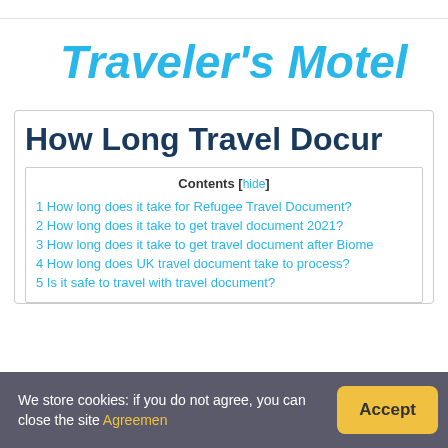Traveler's Motel
How Long Travel Docu…
Contents [hide]
1 How long does it take for Refugee Travel Document?
2 How long does it take to get travel document 2021?
3 How long does it take to get travel document after Biome…
4 How long does UK travel document take to process?
5 Is it safe to travel with travel document?
We store cookies: if you do not agree, you can close the site Agreement